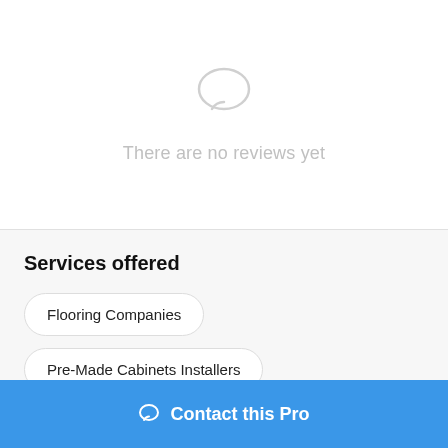[Figure (illustration): Light gray speech bubble / chat icon centered near top of the page]
There are no reviews yet
Services offered
Flooring Companies
Pre-Made Cabinets Installers
Contact this Pro